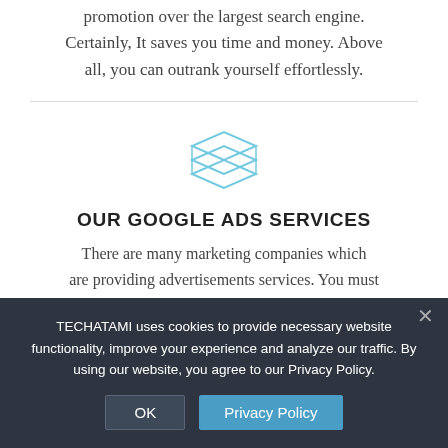promotion over the largest search engine. Certainly, It saves you time and money. Above all, you can outrank yourself effortlessly.
[Figure (illustration): Light blue layered stack / layers icon]
OUR GOOGLE ADS SERVICES
There are many marketing companies which are providing advertisements services. You must
TECHATAMI uses cookies to provide necessary website functionality, improve your experience and analyze our traffic. By using our website, you agree to our Privacy Policy.